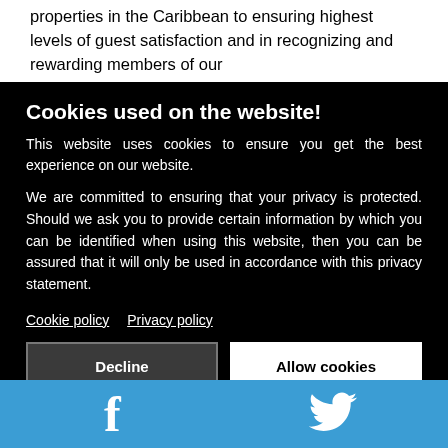properties in the Caribbean to ensuring highest levels of guest satisfaction and in recognizing and rewarding members of our
Cookies used on the website!
This website uses cookies to ensure you get the best experience on our website.
We are committed to ensuring that your privacy is protected. Should we ask you to provide certain information by which you can be identified when using this website, then you can be assured that it will only be used in accordance with this privacy statement.
Cookie policy   Privacy policy
Decline   Allow cookies
[Figure (other): Social media icons bar with Facebook and Twitter icons on a blue background]